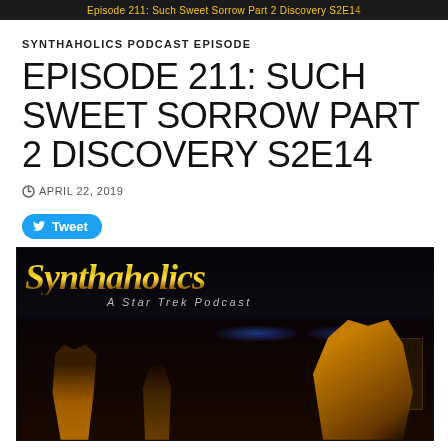Episode 211: Such Sweet Sorrow Part 2 Discovery S2E14
SYNTHAHOLICS PODCAST EPISODE
EPISODE 211: SUCH SWEET SORROW PART 2 DISCOVERY S2E14
APRIL 22, 2019
Tweet
[Figure (photo): Synthaholics: A Star Trek Podcast logo banner over a dark scene showing Star Trek Discovery characters in Starfleet gold uniforms on a starship bridge]